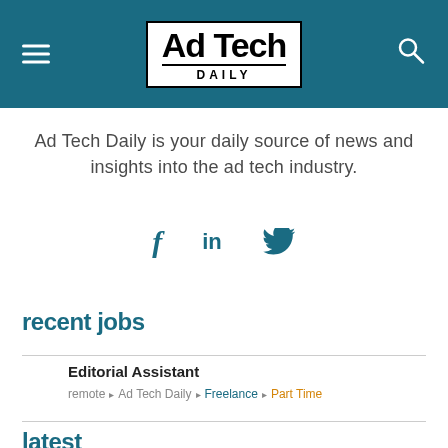Ad Tech Daily
Ad Tech Daily is your daily source of news and insights into the ad tech industry.
[Figure (infographic): Social media icons: Facebook (f), LinkedIn (in), Twitter (bird)]
recent jobs
Editorial Assistant
remote • Ad Tech Daily • Freelance • Part Time
latest